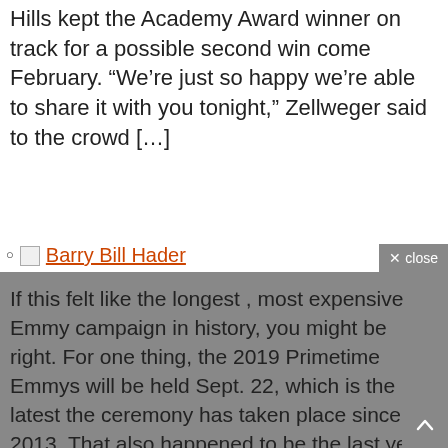Hills kept the Academy Award winner on track for a possible second win come February. “We’re just so happy we’re able to share it with you tonight,” Zellweger said to the crowd […]
Barry Bill Hader
If this felt like the longest , most expensive Emmy campaign in history, you might be right. For one thing, the 2019 Primetime Emmys will be held Sept. 22, which is the latest the ceremony has taken place since 2013. That also happened to be the last year of TV’s quaint, pre-streaming era, before outlets like […]